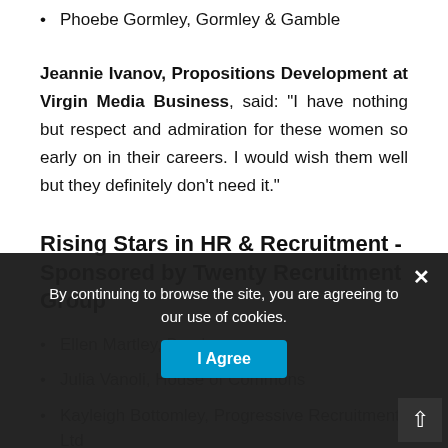Phoebe Gormley, Gormley & Gamble
Jeannie Ivanov, Propositions Development at Virgin Media Business, said: "I have nothing but respect and admiration for these women so early on in their careers. I would wish them well but they definitely don't need it."
Rising Stars in HR & Recruitment - Sponsored by Twenty Recruitment Group
Ellen Martley, Barclays
Julia Vanoli, House of Commons
Kayleigh Bottomley, Progressive Recruitment Ltd
Tarryn Severn, Barclays
By continuing to browse the site, you are agreeing to our use of cookies.